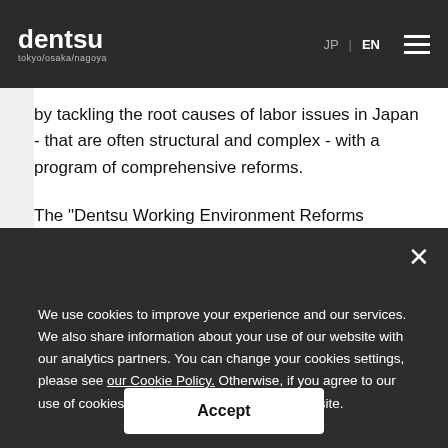dentsu tokyo/osaka/nagoya | JP | EN
by tackling the root causes of labor issues in Japan - that are often structural and complex - with a program of comprehensive reforms.
The "Dentsu Working Environment Reforms Commission,"
We use cookies to improve your experience and our services. We also share information about your use of our website with our analytics partners. You can change your cookies settings, please see our Cookie Policy. Otherwise, if you agree to our use of cookies, please continue to use our website.
Accept